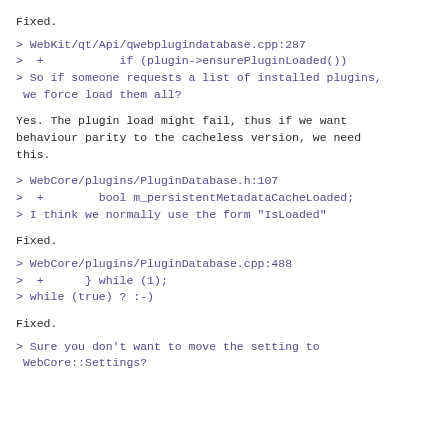Fixed.
> WebKit/qt/Api/qwebplugindatabase.cpp:287
>  +           if (plugin->ensurePluginLoaded())
> So if someone requests a list of installed plugins, we force load them all?
Yes. The plugin load might fail, thus if we want behaviour parity to the cacheless version, we need this.
> WebCore/plugins/PluginDatabase.h:107
>  +        bool m_persistentMetadataCacheLoaded;
> I think we normally use the form "IsLoaded"
Fixed.
> WebCore/plugins/PluginDatabase.cpp:488
>  +      } while (1);
> while (true) ? :-)
Fixed.
> Sure you don't want to move the setting to WebCore::Settings?